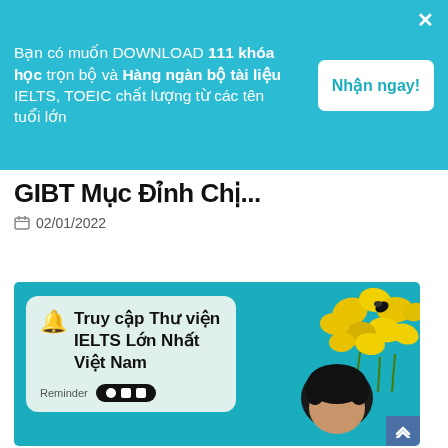[Figure (screenshot): Teal/cyan promotional banner overlay with Vietnamese text advertising 111 courses and IELTS/TOEIC materials download, with a white 'Nhận ngay!' button and an X close icon]
GIBT Mục Đỉnh Chị
02/01/2022
[Figure (photo): Promotional image with teal background showing a card with bell icon and Vietnamese text 'Truy cập Thư viện IELTS Lớn Nhất Việt Nam', a Reminder label with icon pills, yellow flowers in upper right, and a person's head/hair at bottom right]